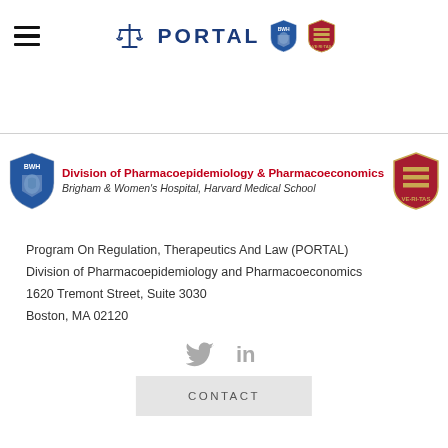PORTAL — navigation header with hamburger menu, scales logo, BWH shield, Harvard shield
[Figure (logo): Division of Pharmacoepidemiology & Pharmacoeconomics banner with BWH shield on left, Harvard shield on right, red division title and italic subtitle: Brigham & Women's Hospital, Harvard Medical School]
Program On Regulation, Therapeutics And Law (PORTAL)
Division of Pharmacoepidemiology and Pharmacoeconomics
1620 Tremont Street, Suite 3030
Boston, MA 02120
[Figure (logo): Twitter and LinkedIn social media icons in gray]
CONTACT